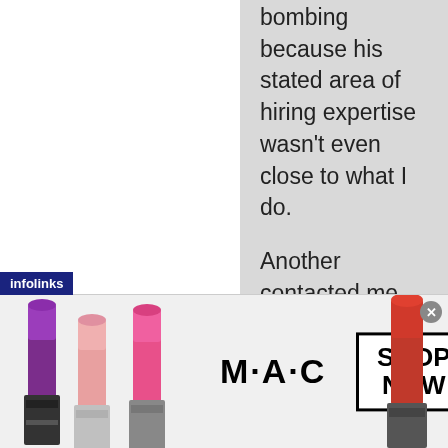bombing because his stated area of hiring expertise wasn't even close to what I do.

Another contacted me and asked for a meeting. The job she was recruiting for seemed a reasonable fit so I proposed a few times and never heard back. So TheLadders isn't exactly dealing with the best and brightest, either.

I only use job boards to figure out who's hiring and to identify
[Figure (infographic): MAC Cosmetics advertisement banner with lipsticks on left and right sides, MAC logo in center, and a 'SHOP NOW' button box. An infolinks badge appears above the ad on the left.]